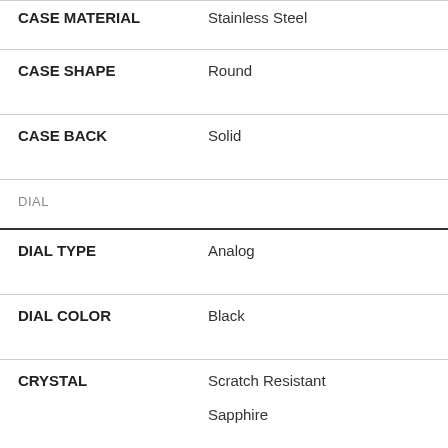| Attribute | Value |
| --- | --- |
| CASE MATERIAL | Stainless Steel |
| CASE SHAPE | Round |
| CASE BACK | Solid |
| DIAL |  |
| DIAL TYPE | Analog |
| DIAL COLOR | Black |
| CRYSTAL | Scratch Resistant Sapphire |
| HANDS | Luminous Silver-tone |
| DIAL MARKERS | Index |